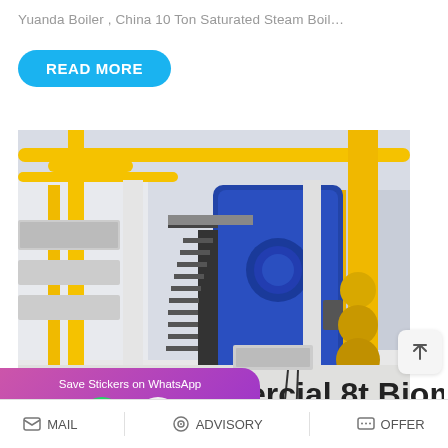Yuanda Boiler , China 10 Ton Saturated Steam Boil…
READ MORE
[Figure (photo): Industrial boiler room interior showing large blue cylindrical boiler with yellow piping, metal staircases, and industrial equipment in a factory setting]
[Figure (infographic): WhatsApp sticker save banner with purple/pink gradient background showing phone icon and face icon]
ercial 8t Biomass
MAIL   ADVISORY   OFFER